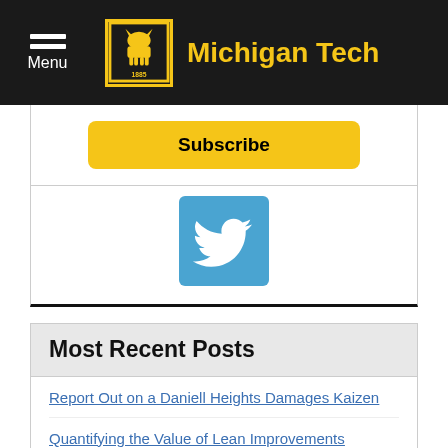Menu | Michigan Tech
Subscribe
[Figure (logo): Twitter bird icon on blue square background]
Most Recent Posts
Report Out on a Daniell Heights Damages Kaizen
Quantifying the Value of Lean Improvements
Welcome, Sydney!